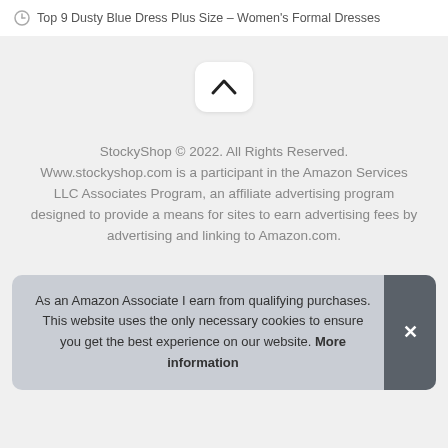Top 9 Dusty Blue Dress Plus Size – Women's Formal Dresses
[Figure (other): Scroll-to-top button with upward chevron arrow on white rounded rectangle background]
StockyShop © 2022. All Rights Reserved. Www.stockyshop.com is a participant in the Amazon Services LLC Associates Program, an affiliate advertising program designed to provide a means for sites to earn advertising fees by advertising and linking to Amazon.com.
As an Amazon Associate I earn from qualifying purchases. This website uses the only necessary cookies to ensure you get the best experience on our website. More information